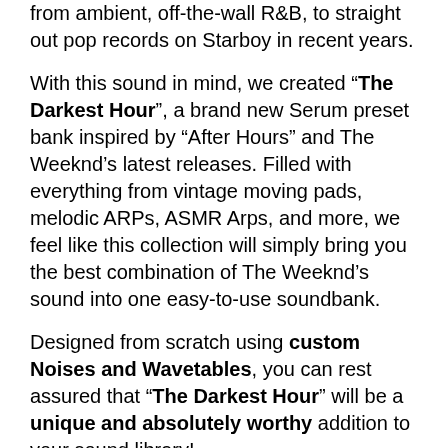from ambient, off-the-wall R&B, to straight out pop records on Starboy in recent years.
With this sound in mind, we created “The Darkest Hour”, a brand new Serum preset bank inspired by “After Hours” and The Weeknd’s latest releases. Filled with everything from vintage moving pads, melodic ARPs, ASMR Arps, and more, we feel like this collection will simply bring you the best combination of The Weeknd’s sound into one easy-to-use soundbank.
Designed from scratch using custom Noises and Wavetables, you can rest assured that “The Darkest Hour” will be a unique and absolutely worthy addition to your sound library!
This Bank Includes:
ASMR Arps
Atmospheric Pads
Bass